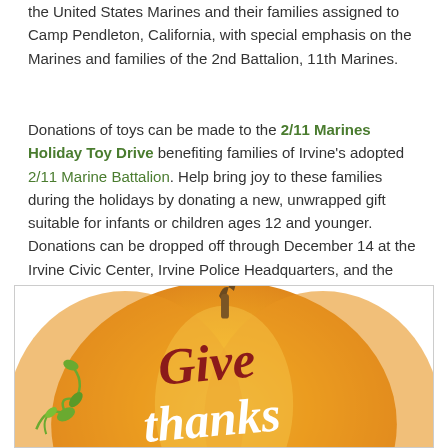the United States Marines and their families assigned to Camp Pendleton, California, with special emphasis on the Marines and families of the 2nd Battalion, 11th Marines.
Donations of toys can be made to the 2/11 Marines Holiday Toy Drive benefiting families of Irvine's adopted 2/11 Marine Battalion. Help bring joy to these families during the holidays by donating a new, unwrapped gift suitable for infants or children ages 12 and younger. Donations can be dropped off through December 14 at the Irvine Civic Center, Irvine Police Headquarters, and the Great Park Visitors Center.
[Figure (illustration): A decorative illustration of an orange pumpkin with 'Give Thanks' text in cursive, with green vine decorations at the bottom left. The image is partially cropped showing the top portion of the pumpkin.]